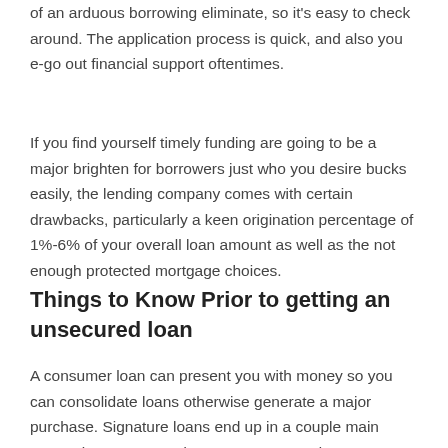of an arduous borrowing eliminate, so it's easy to check around. The application process is quick, and also you e-go out financial support oftentimes.
If you find yourself timely funding are going to be a major brighten for borrowers just who you desire bucks easily, the lending company comes with certain drawbacks, particularly a keen origination percentage of 1%-6% of your overall loan amount as well as the not enough protected mortgage choices.
Things to Know Prior to getting an unsecured loan
A consumer loan can present you with money so you can consolidate loans otherwise generate a major purchase. Signature loans end up in a couple main categories: secure and you can unsecured. A guaranteed financing requires equity, if you find yourself an unsecured loan doesn't require that bring something out-of value to have safety.